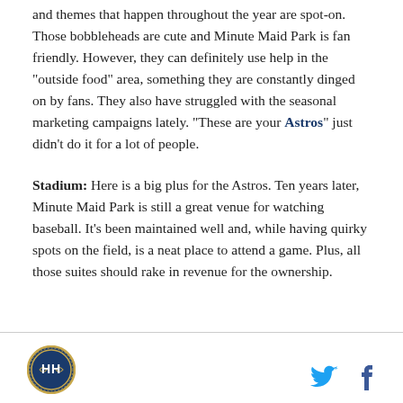and themes that happen throughout the year are spot-on. Those bobbleheads are cute and Minute Maid Park is fan friendly. However, they can definitely use help in the "outside food" area, something they are constantly dinged on by fans. They also have struggled with the seasonal marketing campaigns lately. "These are your Astros" just didn't do it for a lot of people.
Stadium: Here is a big plus for the Astros. Ten years later, Minute Maid Park is still a great venue for watching baseball. It's been maintained well and, while having quirky spots on the field, is a neat place to attend a game. Plus, all those suites should rake in revenue for the ownership.
[Figure (logo): Circular logo with HH letters and baseball design]
[Figure (other): Twitter bird icon (blue) and Facebook f icon (dark)]